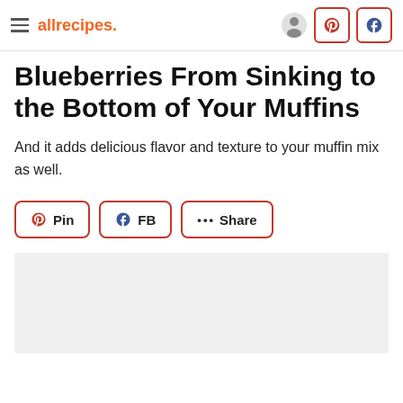allrecipes
Blueberries From Sinking to the Bottom of Your Muffins
And it adds delicious flavor and texture to your muffin mix as well.
[Figure (screenshot): Social sharing buttons: Pin (Pinterest), FB (Facebook), Share (more options)]
[Figure (photo): Light gray rectangular image placeholder area]